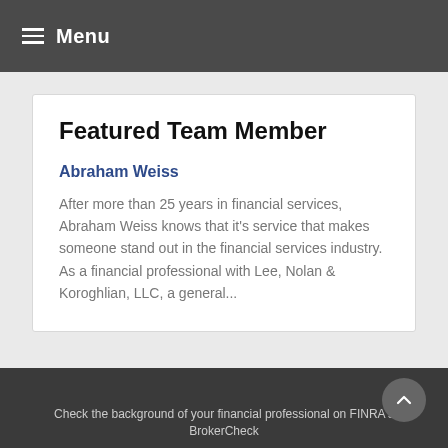Menu
Featured Team Member
Abraham Weiss
After more than 25 years in financial services, Abraham Weiss knows that it's service that makes someone stand out in the financial services industry. As a financial professional with Lee, Nolan & Koroghlian, LLC, a general...
Check the background of your financial professional on FINRA's BrokerCheck